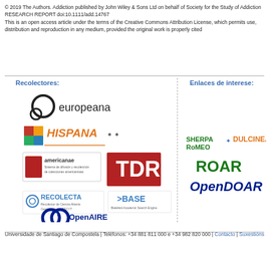© 2019 The Authors. Addiction published by John Wiley & Sons Ltd on behalf of Society for the Study of Addiction RESEARCH REPORT doi:10.1111/add.14767 This is an open access article under the terms of the Creative Commons Attribution License, which permits use, distribution and reproduction in any medium, provided the original work is properly cited
Recolectores:
Enlaces de interese:
[Figure (logo): Collection of repository and aggregator logos: europeana, HISPANA, americanae, TDR, RECOLECTA, BASE, OpenAIRE]
[Figure (logo): Collection of open access registry logos: SHERPA RoMEO, DULCINEA, ROAR, OpenDOAR]
Universidade de Santiago de Compostela | Teléfonos: +34 881 811 000 e +34 982 820 000 | Contacto | Suxestións